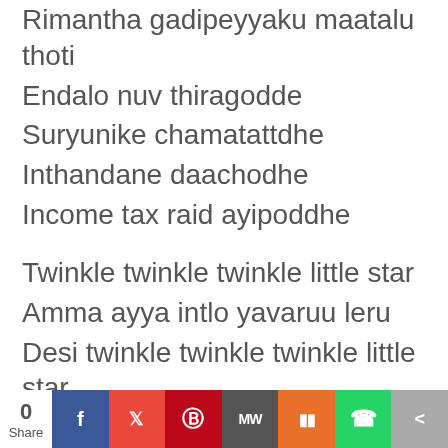Rimantha gadipeyyaku maatalu thoti
Endalo nuv thiragodde
Suryunike chamatattdhe
Inthandane daachodhe
Income tax raid ayipoddhe
Twinkle twinkle twinkle little star
Amma ayya intlo yavaruu leru
Desi twinkle twinkle twinkle little star
Terichunchave pori frontudoru
NUv koosunna eh seataina
Swarganiki direct ga adi flightenna
0 Share [social share bar: Facebook, Twitter, Pinterest, MeWe, Mix, WhatsApp, Share]